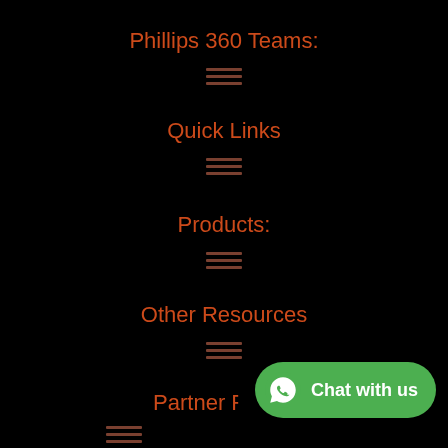Phillips 360 Teams:
[Figure (other): Hamburger menu icon (three horizontal lines) under Phillips 360 Teams]
Quick Links
[Figure (other): Hamburger menu icon (three horizontal lines) under Quick Links]
Products:
[Figure (other): Hamburger menu icon (three horizontal lines) under Products]
Other Resources
[Figure (other): Hamburger menu icon (three horizontal lines) under Other Resources]
Partner Resou
[Figure (other): Hamburger menu icon (three horizontal lines) under Partner Resources]
[Figure (other): WhatsApp Chat with us button in green, bottom right]